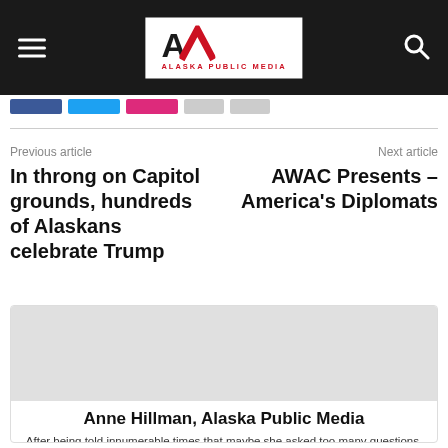Alaska Public Media
Previous article
In throng on Capitol grounds, hundreds of Alaskans celebrate Trump
Next article
AWAC Presents – America's Diplomats
Anne Hillman, Alaska Public Media
After being told innumerable times that maybe she asked too many questions, Anne Hillman decided to pursue a career in journalism.